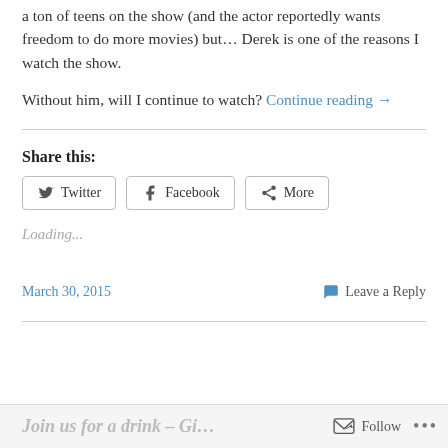a ton of teens on the show (and the actor reportedly wants freedom to do more movies) but… Derek is one of the reasons I watch the show.
Without him, will I continue to watch? Continue reading →
Share this:
Twitter   Facebook   More
Loading...
March 30, 2015
Leave a Reply
Join us for a drink – Gi…